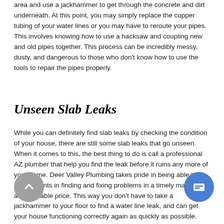area and use a jackhammer to get through the concrete and dirt underneath. At this point, you may simply replace the copper tubing of your water lines or you may have to reroute your pipes. This involves knowing how to use a hacksaw and coupling new and old pipes together. This process can be incredibly messy, dusty, and dangerous to those who don't know how to use the tools to repair the pipes properly.
Unseen Slab Leaks
While you can definitely find slab leaks by checking the condition of your house, there are still some slab leaks that go unseen. When it comes to this, the best thing to do is call a professional AZ plumber that help you find the leak before it ruins any more of your home. Deer Valley Plumbing takes pride in being able to assist clients in finding and fixing problems in a timely manner for a reasonable price. This way you don't have to take a jackhammer to your floor to find a water line leak, and can get your house functioning correctly again as quickly as possible.